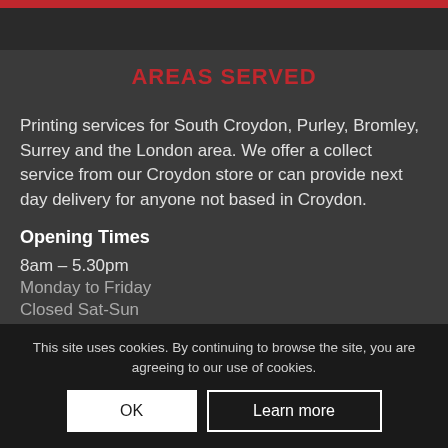AREAS SERVED
Printing services for South Croydon, Purley, Bromley, Surrey and the London area. We offer a collect service from our Croydon store or can provide next day delivery for anyone not based in Croydon.
Opening Times
8am – 5.30pm
Monday to Friday
Closed Sat-Sun
This site uses cookies. By continuing to browse the site, you are agreeing to our use of cookies.